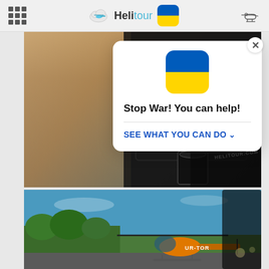[Figure (screenshot): Helitour website navigation bar with logo (Heli in dark, tour in cyan, helicopter icon), Ukrainian flag icon, and helicopter silhouette icon on right]
[Figure (photo): Woman sitting in helicopter cockpit, view from behind showing instrument panel and HELITOUR.COM text on a surface]
[Figure (infographic): White modal popup with Ukrainian flag (blue over yellow), bold text 'Stop War! You can help!', horizontal divider, and blue link 'SEE WHAT YOU CAN DO' with chevron, plus close X button]
[Figure (photo): Orange Robinson helicopter (registration UR-TOR) parked on tarmac against blue sky with trees in background, viewed from inside another helicopter]